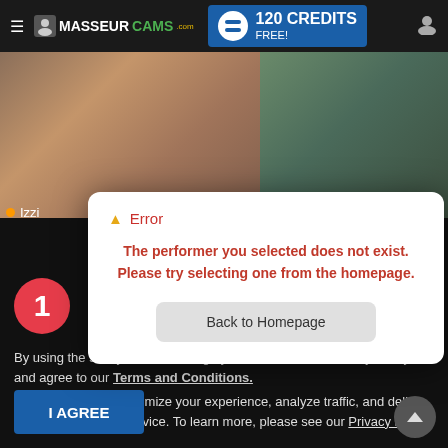≡ MASSEURCAMS.com | 120 CREDITS FREE!
[Figure (screenshot): Background photo thumbnails of performers on the website]
● Izzi
[Figure (screenshot): Error modal dialog: 'Error - The performer you selected does not exist. Please try selecting one from the homepage.' with a 'Back to Homepage' button]
By using the site, you acknowledge you have read our Privacy Policy, and agree to our Terms and Conditions.
We use cookies to optimize your experience, analyze traffic, and deliver more personalized service. To learn more, please see our Privacy Policy.
I AGREE